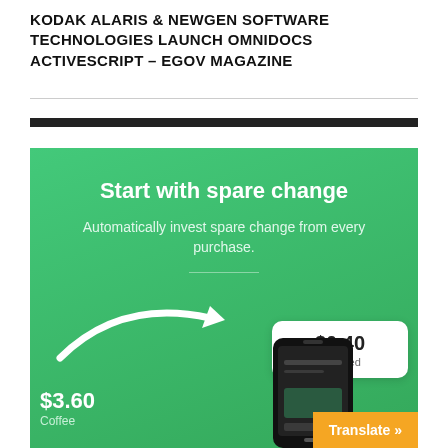KODAK ALARIS & NEWGEN SOFTWARE TECHNOLOGIES LAUNCH OMNIDOCS ACTIVESCRIPT – EGOV MAGAZINE
[Figure (illustration): Promotional graphic for an investment app on a green background. Reads 'Start with spare change', 'Automatically invest spare change from every purchase.' Shows a curved white arrow pointing to a white card displaying '$0.40 Invested'. Bottom-left shows '$3.60 Coffee'. A smartphone mockup is partially visible at bottom-right. An orange 'Translate »' button appears at the very bottom-right corner.]